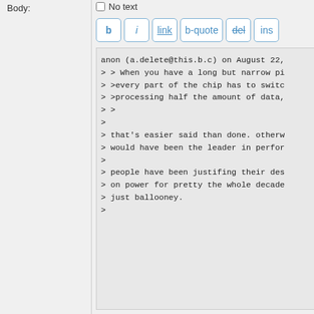Body:
No text (checkbox)
[Figure (screenshot): Text editor toolbar with buttons: b (bold), i (italic), link (underlined), b-quote, del (strikethrough), ins (partially visible)]
anon (a.delete@this.b.c) on August 22,
> > When you have a long but narrow pi
> >every part of the chip has to switc
> >processing half the amount of data,
> >
>
> that's easier said than done. otherw
> would have been the leader in perfor
>
> people have been justifing their des
> on power for pretty the whole decade
> just ballooney.
>